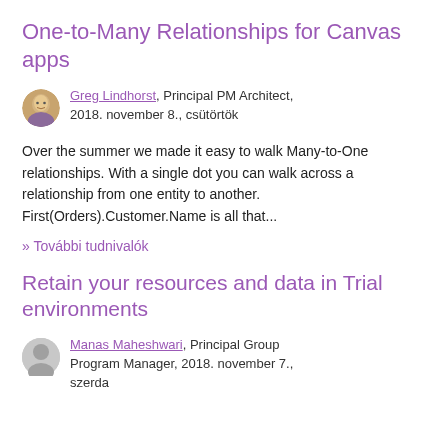One-to-Many Relationships for Canvas apps
Greg Lindhorst, Principal PM Architect, 2018. november 8., csütörtök
Over the summer we made it easy to walk Many-to-One relationships.  With a single dot you can walk across a relationship from one entity to another. First(Orders).Customer.Name is all that...
» További tudnivalók
Retain your resources and data in Trial environments
Manas Maheshwari, Principal Group Program Manager, 2018. november 7., szerda